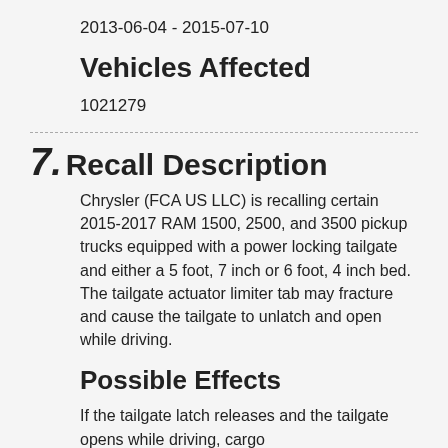2013-06-04 - 2015-07-10
Vehicles Affected
1021279
7. Recall Description
Chrysler (FCA US LLC) is recalling certain 2015-2017 RAM 1500, 2500, and 3500 pickup trucks equipped with a power locking tailgate and either a 5 foot, 7 inch or 6 foot, 4 inch bed. The tailgate actuator limiter tab may fracture and cause the tailgate to unlatch and open while driving.
Possible Effects
If the tailgate latch releases and the tailgate opens while driving, cargo